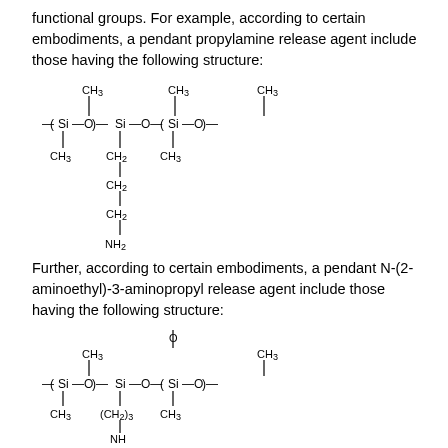functional groups. For example, according to certain embodiments, a pendant propylamine release agent include those having the following structure:
[Figure (chemical-structure): Chemical structure of pendant propylamine release agent: siloxane polymer chain with CH3 groups on top and CH3/CH2 groups on bottom, with a pendant chain -CH2-CH2-CH2-NH2]
Further, according to certain embodiments, a pendant N-(2-aminoethyl)-3-aminopropyl release agent include those having the following structure:
[Figure (chemical-structure): Chemical structure of pendant N-(2-aminoethyl)-3-aminopropyl release agent: siloxane polymer chain with CH3 groups, with a pendant chain -(CH2)3-NH-(CH2)2-NH2]